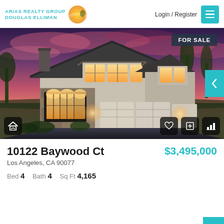[Figure (logo): Arias Realty Group Douglas Elliman logo with sun icon]
Login / Register
[Figure (photo): Large two-story Tudor-style house at dusk with pink/purple sky, stone facade, three-car garage, lit windows. FOR SALE badge in upper right.]
10122 Baywood Ct
$3,495,000
Los Angeles, CA 90077
Bed 4   Bath 4   Sq Ft 4,165